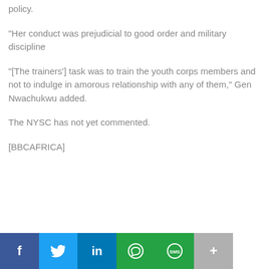policy.
"Her conduct was prejudicial to good order and military discipline
"[The trainers'] task was to train the youth corps members and not to indulge in amorous relationship with any of them," Gen Nwachukwu added.
The NYSC has not yet commented.
[BBCAFRICA]
[Figure (infographic): Social media sharing bar with buttons for Facebook (dark blue), Twitter (light blue), LinkedIn (blue), WhatsApp (green), SMS (green), and More (gray)]